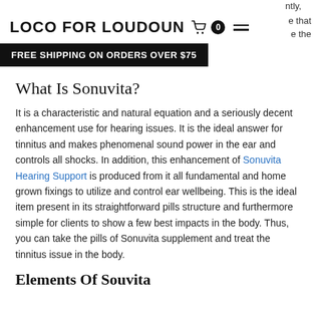LOCO FOR LOUDOUN
FREE SHIPPING ON ORDERS OVER $75
What Is Sonuvita?
It is a characteristic and natural equation and a seriously decent enhancement use for hearing issues. It is the ideal answer for tinnitus and makes phenomenal sound power in the ear and controls all shocks. In addition, this enhancement of Sonuvita Hearing Support is produced from it all fundamental and home grown fixings to utilize and control ear wellbeing. This is the ideal item present in its straightforward pills structure and furthermore simple for clients to show a few best impacts in the body. Thus, you can take the pills of Sonuvita supplement and treat the tinnitus issue in the body.
Elements Of Sonuvita